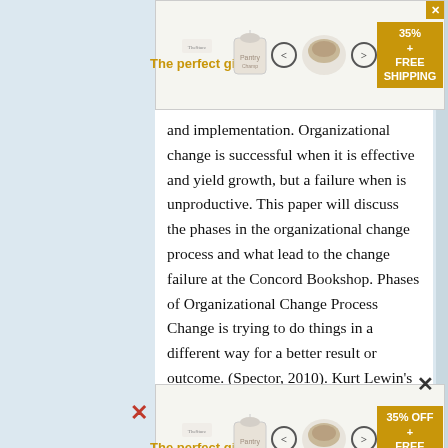[Figure (other): Advertisement banner at top: 'The perfect gift' with bowl images, arrows, and '35% OFF + FREE SHIPPING' badge]
and implementation. Organizational change is successful when it is effective and yield growth, but a failure when is unproductive. This paper will discuss the phases in the organizational change process and what lead to the change failure at the Concord Bookshop. Phases of Organizational Change Process Change is trying to do things in a different way for a better result or outcome. (Spector, 2010). Kurt Lewin's three stage theory of change are Unfreeze, Change and Freeze. The Unfreezing stage is the understanding of the need for change and preparing for it. It requires moving away from the comfort zone of the old norms. The Change stage or Transition is the most difficult time of the change. At this stage reaction to change are displayed, people
[Figure (other): Advertisement banner at bottom: 'The perfect gift' with bowl images, arrows, and '35% OFF + FREE SHIPPING' badge]